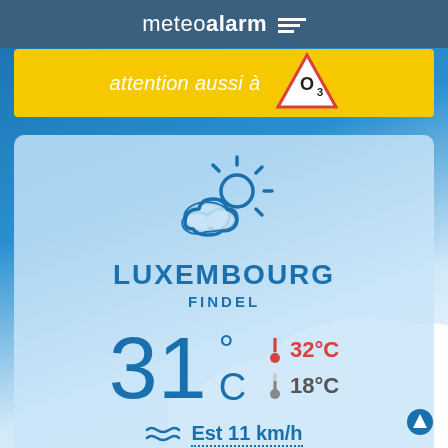meteoalarm
attention aussi à O3
[Figure (infographic): Weather app screenshot showing Luxembourg Findel weather: partly cloudy with sun icon, current temperature 31°C, max 32°C (red thermometer), min 18°C (grey thermometer), wind Est 11 km/h]
LUXEMBOURG
FINDEL
31°C
32°C
18°C
Est 11 km/h